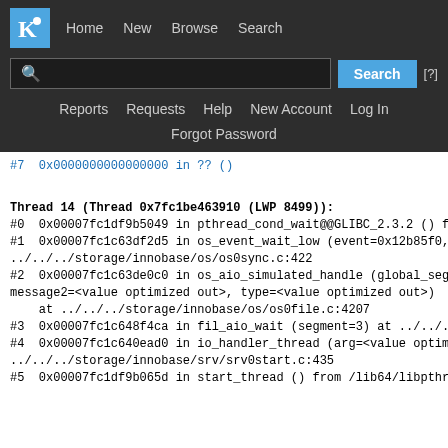[Figure (screenshot): KDE Bugzilla navigation bar with logo, Home, New, Browse, Search links, search input field, Search button, [?] help, Reports, Requests, Help, New Account, Log In links, and Forgot Password link]
#7  0x0000000000000000 in ?? ()
Thread 14 (Thread 0x7fc1be463910 (LWP 8499)):
#0  0x00007fc1df9b5049 in pthread_cond_wait@@GLIBC_2.3.2 () f
#1  0x00007fc1c63df2d5 in os_event_wait_low (event=0x12b85f0, re
../../../storage/innobase/os/os0sync.c:422
#2  0x00007fc1c63de0c0 in os_aio_simulated_handle (global_seg
message2=<value optimized out>, type=<value optimized out>)
    at ../../../storage/innobase/os/os0file.c:4207
#3  0x00007fc1c648f4ca in fil_aio_wait (segment=3) at ../../..//storag
#4  0x00007fc1c640ead0 in io_handler_thread (arg=<value optimi
../../../storage/innobase/srv/srv0start.c:435
#5  0x00007fc1df9b065d in start_thread () from /lib64/libpthread